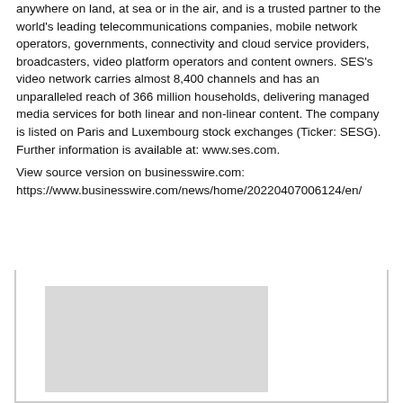anywhere on land, at sea or in the air, and is a trusted partner to the world's leading telecommunications companies, mobile network operators, governments, connectivity and cloud service providers, broadcasters, video platform operators and content owners. SES's video network carries almost 8,400 channels and has an unparalleled reach of 366 million households, delivering managed media services for both linear and non-linear content. The company is listed on Paris and Luxembourg stock exchanges (Ticker: SESG). Further information is available at: www.ses.com.
View source version on businesswire.com: https://www.businesswire.com/news/home/20220407006124/en/
Top News
[Figure (photo): Gray placeholder image in the Top News section]